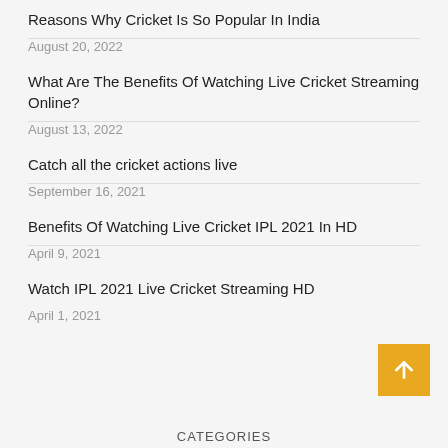Reasons Why Cricket Is So Popular In India
August 20, 2022
What Are The Benefits Of Watching Live Cricket Streaming Online?
August 13, 2022
Catch all the cricket actions live
September 16, 2021
Benefits Of Watching Live Cricket IPL 2021 In HD
April 9, 2021
Watch IPL 2021 Live Cricket Streaming HD
April 1, 2021
CATEGORIES